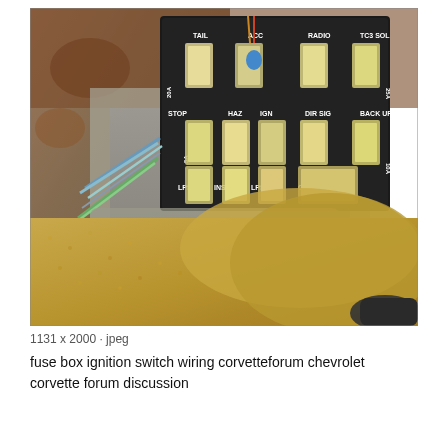[Figure (photo): Close-up photo of a Chevrolet Corvette fuse box showing multiple labeled fuses including TAIL, ACC, RADIO, TC3 SOL, STOP, HAZ, IGN, DIR SIG, BACK UP, LPS, INST, LPS, GAUGES with amperage markings (20A, 5A, 25A, 10A). Wires (blue and green) visible on left side, gold/tan carpet visible in lower portion of image.]
1131 x 2000 · jpeg
fuse box ignition switch wiring corvetteforum chevrolet corvette forum discussion